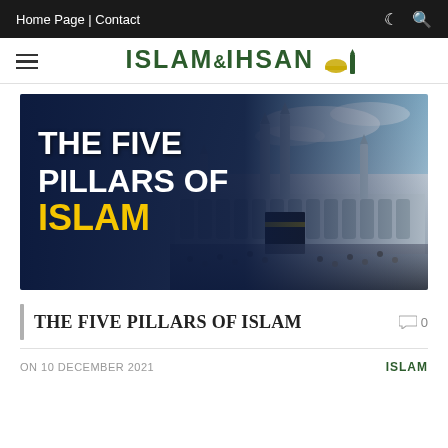Home Page | Contact
[Figure (logo): ISLAM&IHSAN logo with dome and minaret icons]
[Figure (photo): Banner image showing the Kaaba at Masjid al-Haram Mecca with crowds of pilgrims, overlaid with text THE FIVE PILLARS OF ISLAM]
THE FIVE PILLARS OF ISLAM
0
ON 10 DECEMBER 2021
ISLAM